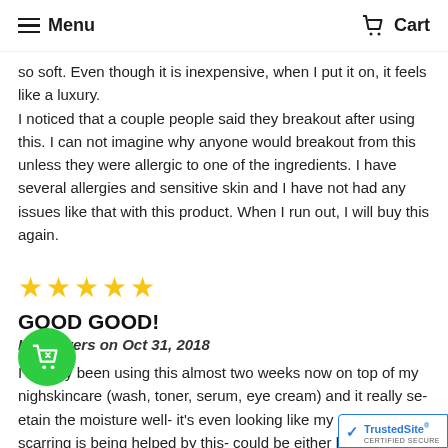Menu  Cart
so soft. Even though it is inexpensive, when I put it on, it feels like a luxury.
I noticed that a couple people said they breakout after using this. I can not imagine why anyone would breakout from this unless they were allergic to one of the ingredients. I have several allergies and sensitive skin and I have not had any issues like that with this product. When I run out, I will buy this again.
[Figure (other): Five gold stars rating]
GOOD GOOD!
Lisa Myers on Oct 31, 2018
I've only been using this almost two weeks now on top of my nigh skincare (wash, toner, serum, eye cream) and it really se etain the moisture well- it's even looking like my res ne scarring is being helped by this- could be either because of the product itself, or the fact it's keepin products on well as I sleep (possibly both). Also it h